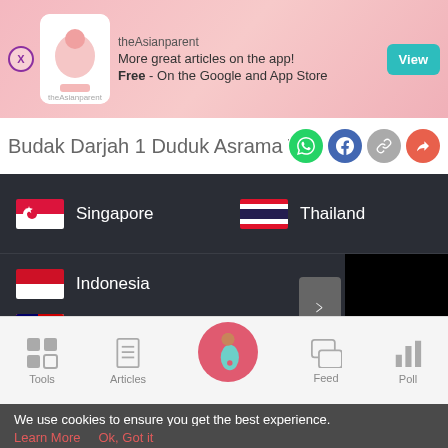[Figure (screenshot): theAsianparent app advertisement banner with pink background, logo, and 'View' button]
Budak Darjah 1 Duduk Asrama Terlah
[Figure (screenshot): Navigation panel with country flags: Singapore, Thailand, Indonesia, Malaysia, with a dark background and arrow/video area]
[Figure (screenshot): Bottom navigation bar with Tools, Articles, Home (pink circle with pregnant woman icon), Feed, and Poll tabs]
We use cookies to ensure you get the best experience.
Learn More    Ok, Got it